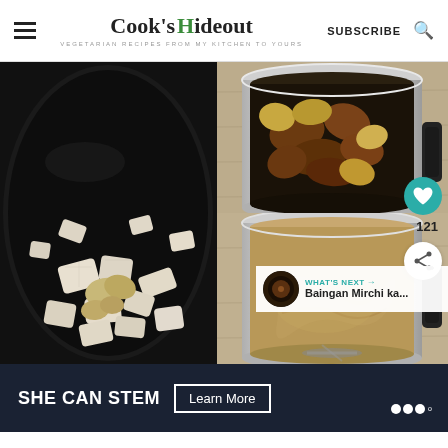Cook's Hideout — VEGETARIAN RECIPES FROM MY KITCHEN TO YOURS — SUBSCRIBE
[Figure (photo): Three cooking step photos: left shows raw chopped onions and garlic in a dark pan; top right shows browned onion pieces in a stainless steel blender jar; bottom right shows blended paste in a stainless steel blender jar. UI overlays include a teal heart icon with 121 count and a share icon. A 'WHAT'S NEXT' card shows 'Baingan Mirchi ka...']
WHAT'S NEXT → Baingan Mirchi ka...
SHE CAN STEM Learn More